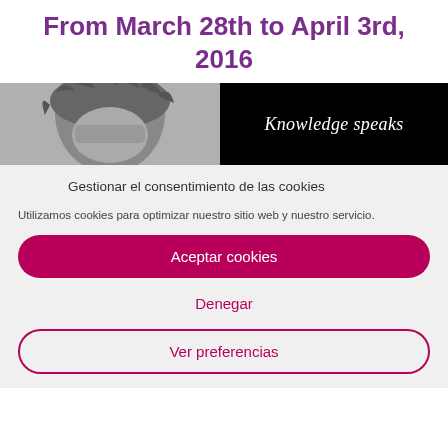From March 28th to April 3rd, 2016
[Figure (photo): Black and white photo of a person wearing a fur-trimmed hood, cropped to show mostly the top of their head]
[Figure (photo): Black background with italic white text reading 'Knowledge speaks']
Gestionar el consentimiento de las cookies
Utilizamos cookies para optimizar nuestro sitio web y nuestro servicio.
Aceptar cookies
Denegar
Ver preferencias